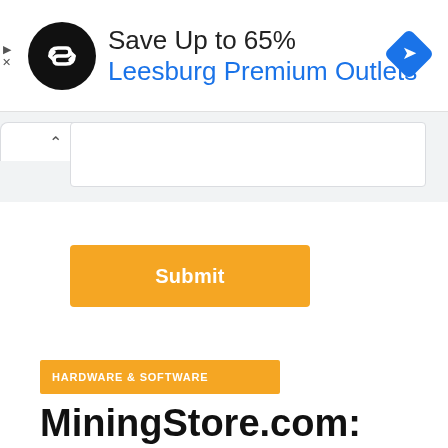[Figure (infographic): Advertisement banner: black circular logo with double arrow icon on left, text 'Save Up to 65%' in dark with 'Leesburg Premium Outlets' in blue below, blue diamond navigation icon on right. Small play and X icons on far left edge.]
[Figure (screenshot): Browser UI: tab bar with a tab showing caret/up arrow, and a search/address bar input box below it.]
[Figure (infographic): Orange 'Submit' button.]
HARDWARE & SOFTWARE
MiningStore.com: